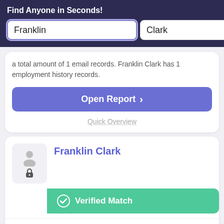Find Anyone in Seconds!
a total amount of 1 email records. Franklin Clark has 1 employment history records.
Open Report >
Quick Overview
Franklin Clark
Verified Match
Aliases:
Franklin Clark
Phone Numbers: